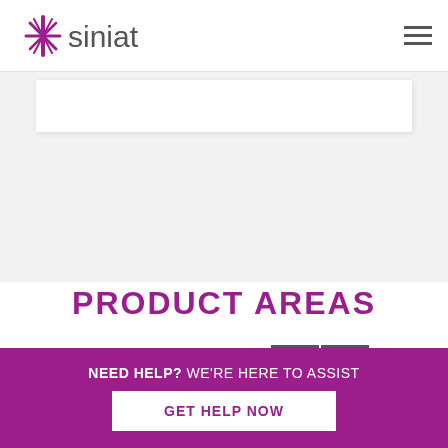Siniat logo and navigation
PRODUCT AREAS
ALL PRODUCTS
NEED HELP? WE'RE HERE TO ASSIST
GET HELP NOW